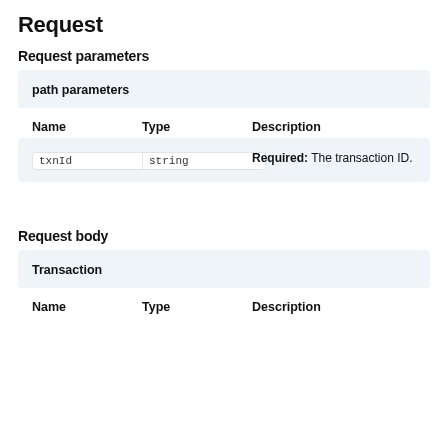Request
Request parameters
path parameters
| Name | Type | Description |
| --- | --- | --- |
| txnId | string | Required: The transaction ID. |
Request body
Transaction
| Name | Type | Description |
| --- | --- | --- |